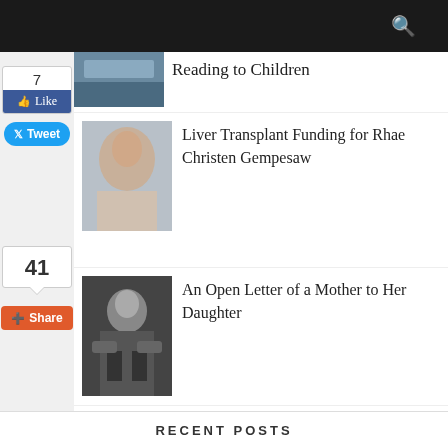Reading to Children
[Figure (photo): Thumbnail image related to Reading to Children article]
7
Like
Tweet
Liver Transplant Funding for Rhae Christen Gempesaw
[Figure (photo): Thumbnail image of a baby for Liver Transplant article]
41
Share
An Open Letter of a Mother to Her Daughter
[Figure (photo): Black and white photo of a woman for Open Letter article]
Debut for Men at 21
[Figure (photo): Photo collage of a birthday card for Debut for Men at 21 article]
RECENT POSTS